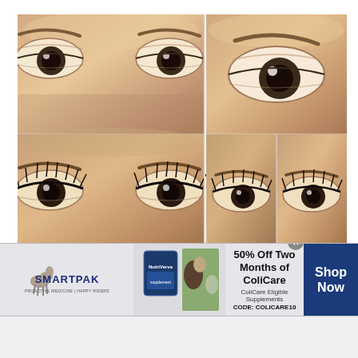[Figure (photo): Six close-up photos of a woman's eyes showing before/after mascara application — two large eyes without mascara (top left), two large eyes with dramatic mascara (bottom left), one large eye without mascara (top right), and two smaller eyes with mascara side-by-side (bottom right).]
Seductive look and extra length
This mascara is easy to take off, I actually
[Figure (infographic): SmartPak advertisement banner: SmartPak logo with horse icon on left, product image in center-left, photo of woman with horse center, text '50% Off Two Months of ColiCare ColiCare Eligible Supplements CODE: COLICARE10' on right-center, and 'Shop Now' blue button on far right with close X button.]